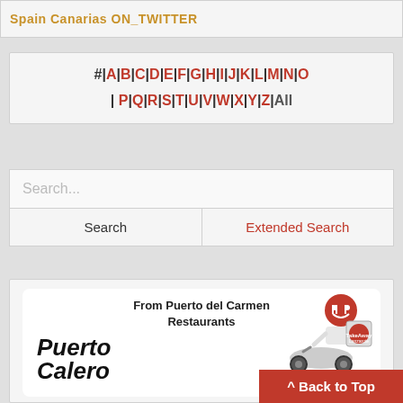Spain Canarias ON_TWITTER
#|A|B|C|D|E|F|G|H|I|J|K|L|M|N|O|P|Q|R|S|T|U|V|W|X|Y|Z|All
Search...
Search
Extended Search
[Figure (illustration): Promotional banner for Puerto Calero takeaway delivery service showing delivery rider mascot with text 'From Puerto del Carmen Restaurants Puerto Calero']
^ Back to Top